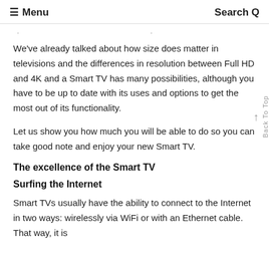≡ Menu   Search Q
…y…g…p…y…
We've already talked about how size does matter in televisions and the differences in resolution between Full HD and 4K and a Smart TV has many possibilities, although you have to be up to date with its uses and options to get the most out of its functionality.
Let us show you how much you will be able to do so you can take good note and enjoy your new Smart TV.
The excellence of the Smart TV
Surfing the Internet
Smart TVs usually have the ability to connect to the Internet in two ways: wirelessly via WiFi or with an Ethernet cable. That way, it is